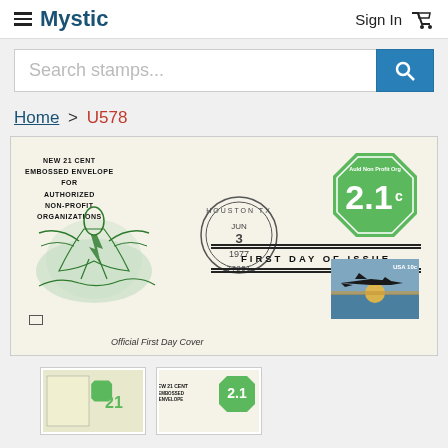Mystic   Sign In
Search stamps...
Home > U578
[Figure (photo): First Day Cover envelope for the 2.1 cent Non-Profit Organizations embossed envelope, postmarked Houston TX, Jun 3 1977, 77201, with green octagon 2.1c stamp and airplane stamp, labeled 'FIRST DAY OF ISSUE' and 'Official First Day Cover']
[Figure (photo): Thumbnail image 1 of U578 stamp]
[Figure (photo): Thumbnail image 2 of U578 stamp]